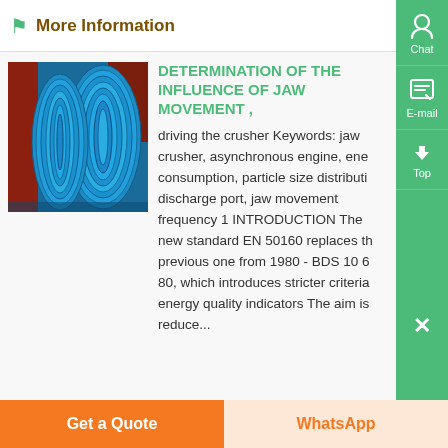More Information
[Figure (photo): Stacked blue coiled pipes or springs in a warehouse/industrial setting with red metal structures visible in the background]
DETERMINATION OF THE INFLUENCE OF JAW MOVEMENT ,
driving the crusher Keywords: jaw crusher, asynchronous engine, energy consumption, particle size distribution, discharge port, jaw movement frequency 1 INTRODUCTION The new standard EN 50160 replaces the previous one from 1980 - BDS 10 6 80, which introduces stricter criteria energy quality indicators The aim is reduce...